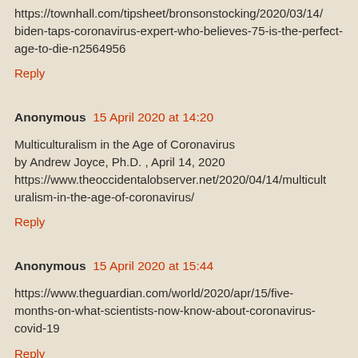https://townhall.com/tipsheet/bronsonstocking/2020/03/14/biden-taps-coronavirus-expert-who-believes-75-is-the-perfect-age-to-die-n2564956
Reply
Anonymous  15 April 2020 at 14:20
Multiculturalism in the Age of Coronavirus
by Andrew Joyce, Ph.D. , April 14, 2020
https://www.theoccidentalobserver.net/2020/04/14/multiculturalism-in-the-age-of-coronavirus/
Reply
Anonymous  15 April 2020 at 15:44
https://www.theguardian.com/world/2020/apr/15/five-months-on-what-scientists-now-know-about-coronavirus-covid-19
Reply